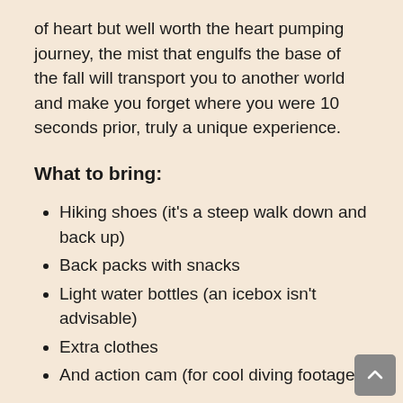of heart but well worth the heart pumping journey, the mist that engulfs the base of the fall will transport you to another world and make you forget where you were 10 seconds prior, truly a unique experience.
What to bring:
Hiking shoes (it’s a steep walk down and back up)
Back packs with snacks
Light water bottles (an icebox isn’t advisable)
Extra clothes
And action cam (for cool diving footage)